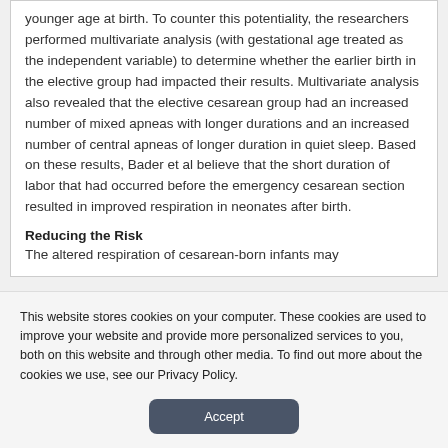younger age at birth. To counter this potentiality, the researchers performed multivariate analysis (with gestational age treated as the independent variable) to determine whether the earlier birth in the elective group had impacted their results. Multivariate analysis also revealed that the elective cesarean group had an increased number of mixed apneas with longer durations and an increased number of central apneas of longer duration in quiet sleep. Based on these results, Bader et al believe that the short duration of labor that had occurred before the emergency cesarean section resulted in improved respiration in neonates after birth.
Reducing the Risk
The altered respiration of cesarean-born infants may
This website stores cookies on your computer. These cookies are used to improve your website and provide more personalized services to you, both on this website and through other media. To find out more about the cookies we use, see our Privacy Policy.